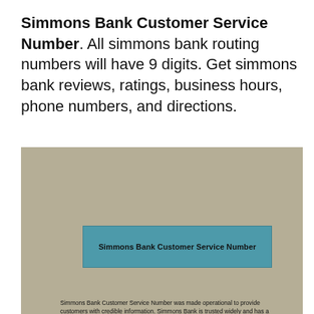Simmons Bank Customer Service Number. All simmons bank routing numbers will have 9 digits. Get simmons bank reviews, ratings, business hours, phone numbers, and directions.
[Figure (screenshot): Screenshot of a webpage with a tan/khaki background showing a teal banner with the text 'Simmons Bank Customer Service Number' and body text describing the bank's customer service.]